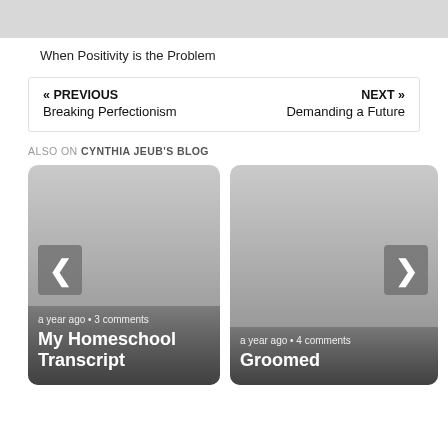[Figure (other): Gray top bar image area]
When Positivity is the Problem
« PREVIOUS
Breaking Perfectionism
NEXT »
Demanding a Future
ALSO ON CYNTHIA JEUB'S BLOG
[Figure (screenshot): Card: My Homeschool Transcript — a year ago • 3 comments]
[Figure (screenshot): Card: Groomed — a year ago • 4 comments]